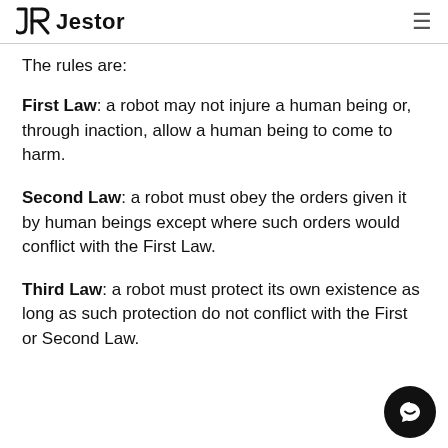Jestor
The rules are:
First Law: a robot may not injure a human being or, through inaction, allow a human being to come to harm.
Second Law: a robot must obey the orders given it by human beings except where such orders would conflict with the First Law.
Third Law: a robot must protect its own existence as long as such protection does not conflict with the First or Second Law.